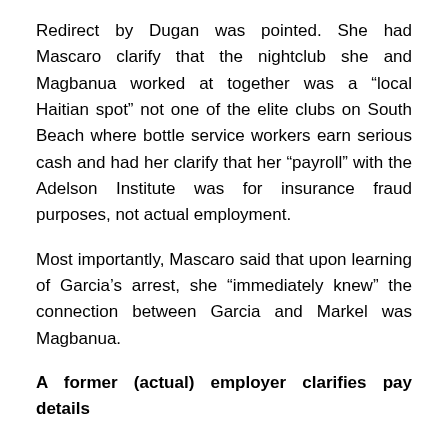Redirect by Dugan was pointed. She had Mascaro clarify that the nightclub she and Magbanua worked at together was a “local Haitian spot” not one of the elite clubs on South Beach where bottle service workers earn serious cash and had her clarify that her “payroll” with the Adelson Institute was for insurance fraud purposes, not actual employment.
Most importantly, Mascaro said that upon learning of Garcia’s arrest, she “immediately knew” the connection between Garcia and Markel was Magbanua.
A former (actual) employer clarifies pay details
Partial text continues below...